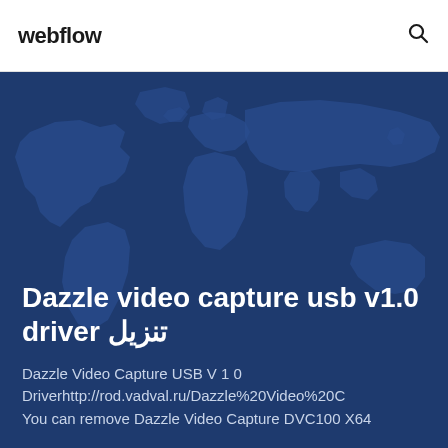webflow
[Figure (illustration): Dark blue world map background illustration used as hero section background]
Dazzle video capture usb v1.0 driver تنزيل
Dazzle Video Capture USB V 1 0 Driverhttp://rod.vadval.ru/Dazzle%20Video%20C You can remove Dazzle Video Capture DVC100 X64